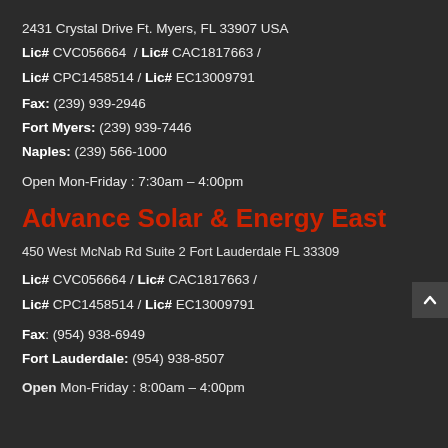2431 Crystal Drive Ft. Myers, FL 33907 USA
Lic# CVC056664 / Lic# CAC1817663 / Lic# CPC1458514 / Lic# EC13009791
Fax: (239) 939-2946
Fort Myers: (239) 939-7446
Naples: (239) 566-1000
Open Mon-Friday : 7:30am – 4:00pm
Advance Solar & Energy East
450 West McNab Rd Suite 2 Fort Lauderdale FL 33309
Lic# CVC056664 / Lic# CAC1817663 / Lic# CPC1458514 / Lic# EC13009791
Fax: (954) 938-6949
Fort Lauderdale: (954) 938-8507
Open Mon-Friday : 8:00am – 4:00pm